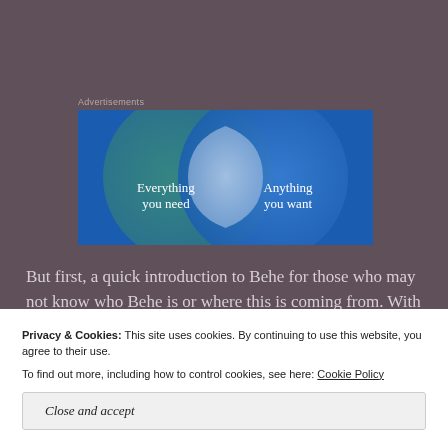Advertisements
[Figure (infographic): Venn diagram advertisement showing two overlapping circles. Left circle is teal/green with text 'Everything you need'. Right circle is blue with text 'Anything you want'. Overlapping area in the center is light blue/white.]
But first, a quick introduction to Behe for those who may not know who Behe is or where this is coming from. With the
Privacy & Cookies: This site uses cookies. By continuing to use this website, you agree to their use.
To find out more, including how to control cookies, see here: Cookie Policy
Close and accept